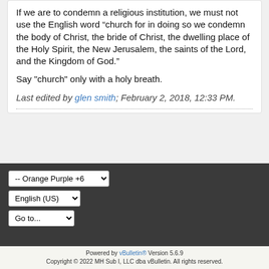If we are to condemn a religious institution, we must not use the English word “church for in doing so we condemn the body of Christ, the bride of Christ, the dwelling place of the Holy Spirit, the New Jerusalem, the saints of the Lord, and the Kingdom of God.”
Say "church" only with a holy breath.
Last edited by glen smith; February 2, 2018, 12:33 PM.
-- Orange Purple +6
English (US)
Go to...
Powered by vBulletin® Version 5.6.9 Copyright © 2022 MH Sub I, LLC dba vBulletin. All rights reserved.